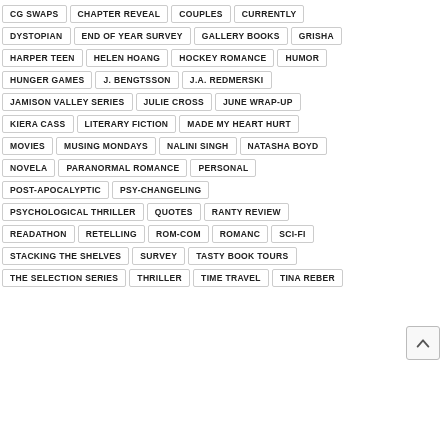CG SWAPS
CHAPTER REVEAL
COUPLES
CURRENTLY
DYSTOPIAN
END OF YEAR SURVEY
GALLERY BOOKS
GRISHA
HARPER TEEN
HELEN HOANG
HOCKEY ROMANCE
HUMOR
HUNGER GAMES
J. BENGTSSON
J.A. REDMERSKI
JAMISON VALLEY SERIES
JULIE CROSS
JUNE WRAP-UP
KIERA CASS
LITERARY FICTION
MADE MY HEART HURT
MOVIES
MUSING MONDAYS
NALINI SINGH
NATASHA BOYD
NOVELA
PARANORMAL ROMANCE
PERSONAL
POST-APOCALYPTIC
PSY-CHANGELING
PSYCHOLOGICAL THRILLER
QUOTES
RANTY REVIEW
READATHON
RETELLING
ROM-COM
ROMANC
SCI-FI
STACKING THE SHELVES
SURVEY
TASTY BOOK TOURS
THE SELECTION SERIES
THRILLER
TIME TRAVEL
TINA REBER